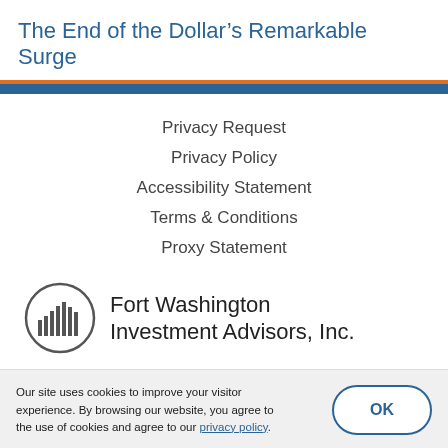The End of the Dollar's Remarkable Surge
Privacy Request
Privacy Policy
Accessibility Statement
Terms & Conditions
Proxy Statement
[Figure (logo): Fort Washington Investment Advisors, Inc. logo with circular bar-chart icon]
Our site uses cookies to improve your visitor experience. By browsing our website, you agree to the use of cookies and agree to our privacy policy.